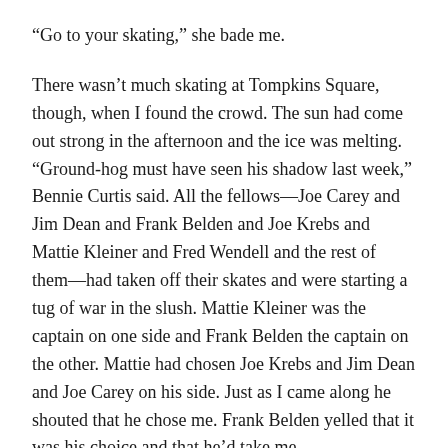“Go to your skating,” she bade me.
There wasn’t much skating at Tompkins Square, though, when I found the crowd. The sun had come out strong in the afternoon and the ice was melting. “Ground-hog must have seen his shadow last week,” Bennie Curtis said. All the fellows—Joe Carey and Jim Dean and Frank Belden and Joe Krebs and Mattie Kleiner and Fred Wendell and the rest of them—had taken off their skates and were starting a tug of war in the slush. Mattie Kleiner was the captain on one side and Frank Belden the captain on the other. Mattie had chosen Joe Krebs and Jim Dean and Joe Carey on his side. Just as I came along he shouted that he chose me. Frank Belden yelled that it was his choice and that he’d take me.
“He don’t want to be on your side!” Mattie cried. “He’s with the Germans!”
“Well, I guess not,” I said, “any more than I’m with the English.